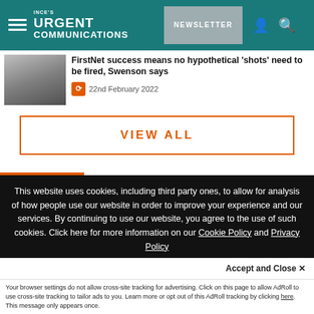INCE's URGENT COMMUNICATIONS | NEWSLETTER
FirstNet success means no hypothetical 'shots' need to be fired, Swenson says
22nd February 2022
VIEW ALL
This website uses cookies, including third party ones, to allow for analysis of how people use our website in order to improve your experience and our services. By continuing to use our website, you agree to the use of such cookies. Click here for more information on our Cookie Policy and Privacy Policy
Accept and Close ✕
Your browser settings do not allow cross-site tracking for advertising. Click on this page to allow AdRoll to use cross-site tracking to tailor ads to you. Learn more or opt out of this AdRoll tracking by clicking here. This message only appears once.